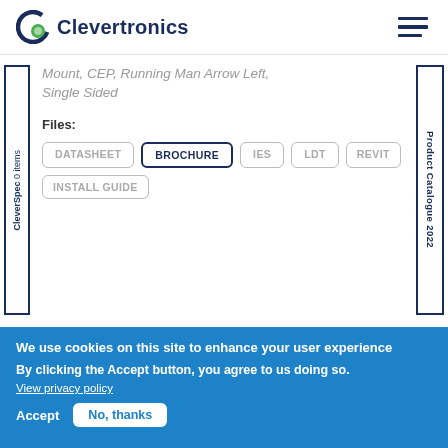[Figure (logo): Clevertronics logo with stylized C icon and company name]
Mount, CEP, Running Man Arrow Left, Single Sided
Files:
DATASHEET
BROCHURE
IES
LDT
REVIT
INSTALL GUIDE
CleverSpec 0 items
Product Catalogue 2022
We use cookies on this site to enhance your user experience
By clicking the Accept button, you agree to us doing so.
View privacy policy
Accept
No, thanks